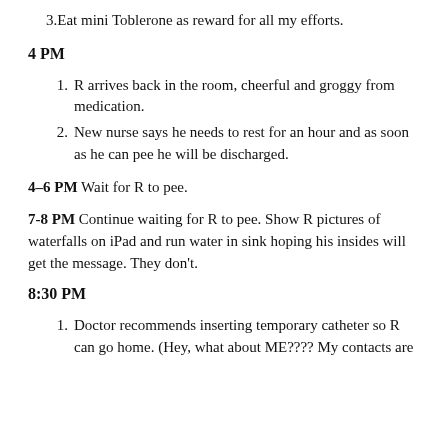3. Eat mini Toblerone as reward for all my efforts.
4 PM
1. R arrives back in the room, cheerful and groggy from medication.
2. New nurse says he needs to rest for an hour and as soon as he can pee he will be discharged.
4–6 PM Wait for R to pee.
7-8 PM Continue waiting for R to pee. Show R pictures of waterfalls on iPad and run water in sink hoping his insides will get the message. They don't.
8:30 PM
1. Doctor recommends inserting temporary catheter so R can go home. (Hey, what about ME???? My contacts are